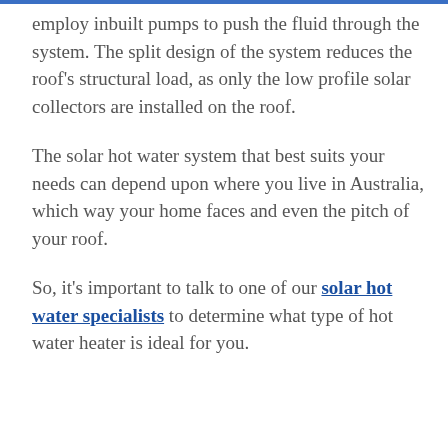employ inbuilt pumps to push the fluid through the system. The split design of the system reduces the roof's structural load, as only the low profile solar collectors are installed on the roof.
The solar hot water system that best suits your needs can depend upon where you live in Australia, which way your home faces and even the pitch of your roof.
So, it's important to talk to one of our solar hot water specialists to determine what type of hot water heater is ideal for you.